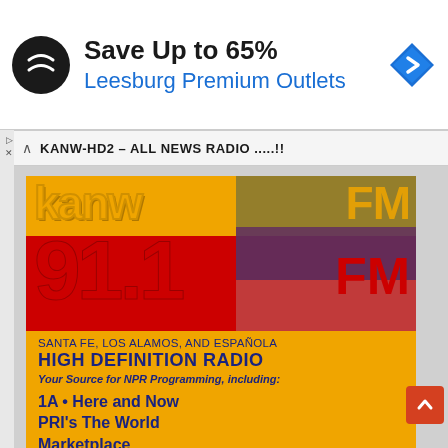[Figure (infographic): Advertisement banner: circular black logo with double arrow symbol, bold headline 'Save Up to 65%', blue subtext 'Leesburg Premium Outlets', blue diamond navigation icon on the right]
KANW-HD2 – ALL NEWS RADIO .....!!
[Figure (infographic): KANW FM radio station advertisement on yellow background. Large stylized 'kanw' text with 'FM' overlay in multicolor stripes (olive, purple, red). Giant red '91.1' frequency with 'FM' in red. Text: 'SANTA FE, LOS ALAMOS, AND ESPAÑOLA', 'HIGH DEFINITION RADIO', 'Your Source for NPR Programming, including:', '1A • Here and Now', 'PRI's The World', 'Marketplace', 'Wait, Wait, Don't Tell Me ...']